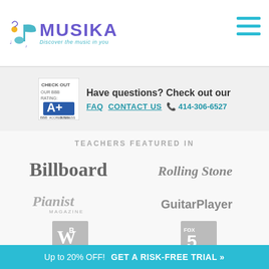[Figure (logo): Musika logo with musical note icon and tagline 'Discover the music in you']
[Figure (logo): Hamburger menu icon (three horizontal lines in cyan/teal)]
[Figure (logo): BBB A+ rating badge]
Have questions? Check out our
FAQ  CONTACT US  📞 414-306-6527
TEACHERS FEATURED IN
[Figure (logo): Billboard magazine logo (gray)]
[Figure (logo): Rolling Stone magazine logo (gray)]
[Figure (logo): Pianist Magazine logo (gray)]
[Figure (logo): Guitar Player magazine logo (gray)]
[Figure (logo): WB logo (gray)]
[Figure (logo): Fox 5 logo (gray)]
Musika Lessons › WI › Milwaukee › Violin Lessons › Violin Lessons Milwaukee
Up to 20% OFF!  GET A RISK-FREE TRIAL »